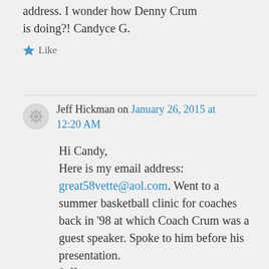address. I wonder how Denny Crum is doing?! Candyce G.
★ Like
Jeff Hickman on January 26, 2015 at 12:20 AM
Hi Candy,
Here is my email address:
great58vette@aol.com. Went to a summer basketball clinic for coaches back in '98 at which Coach Crum was a guest speaker. Spoke to him before his presentation.
Jeff